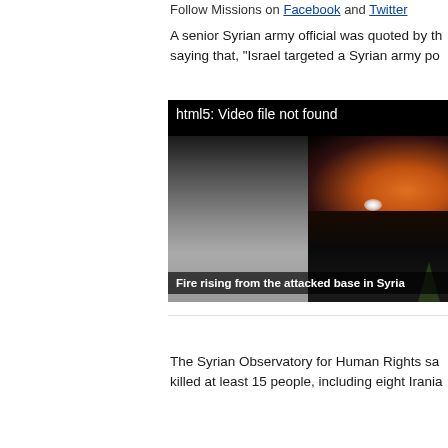Follow Missions on Facebook and Twitter
A senior Syrian army official was quoted by the saying that, "Israel targeted a Syrian army po
[Figure (screenshot): Video player showing error message 'html5: Video file not found' over a split video frame — left half shows a dark smoky scene, right half shows fire and flames rising at night with a light source visible. Caption bar reads: Fire rising from the attacked base in Syria]
Fire rising from the attacked base in Syria
The Syrian Observatory for Human Rights sa killed at least 15 people, including eight Irania